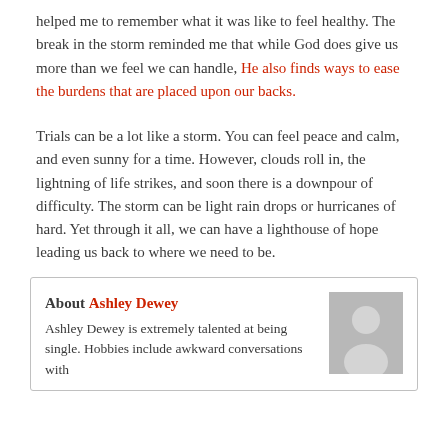helped me to remember what it was like to feel healthy. The break in the storm reminded me that while God does give us more than we feel we can handle, He also finds ways to ease the burdens that are placed upon our backs.
Trials can be a lot like a storm. You can feel peace and calm, and even sunny for a time. However, clouds roll in, the lightning of life strikes, and soon there is a downpour of difficulty. The storm can be light rain drops or hurricanes of hard. Yet through it all, we can have a lighthouse of hope leading us back to where we need to be.
About Ashley Dewey
Ashley Dewey is extremely talented at being single. Hobbies include awkward conversations with